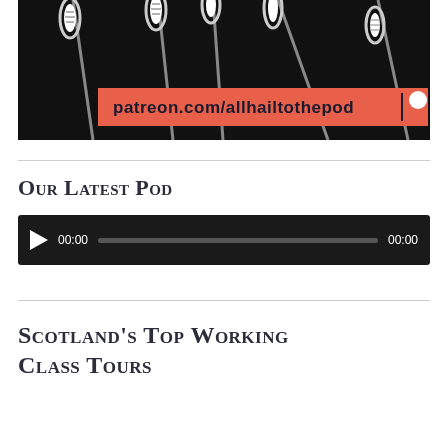[Figure (illustration): Podcast artwork: multiple microphones on stands against a black background with a coral/orange banner reading 'patreon.com/allhailtothepod' and a Patreon logo icon on the right.]
Our Latest Pod
[Figure (screenshot): Audio player widget with black background, play button, time display showing 00:00, progress bar, and end time 00:00.]
Scotland's Top Working Class Tours